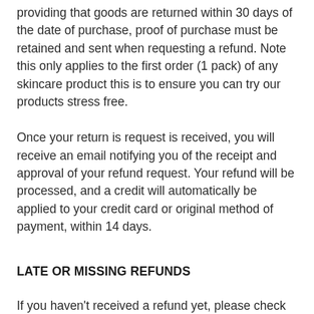providing that goods are returned within 30 days of the date of purchase, proof of purchase must be retained and sent when requesting a refund. Note this only applies to the first order (1 pack) of any skincare product this is to ensure you can try our products stress free.
Once your return is request is received, you will receive an email notifying you of the receipt and approval of your refund request. Your refund will be processed, and a credit will automatically be applied to your credit card or original method of payment, within 14 days.
LATE OR MISSING REFUNDS
If you haven't received a refund yet, please check your bank account again and check with your credit card company, as it may take some time before your refund is officially credited. If your query is still unresolved, and you have not received your